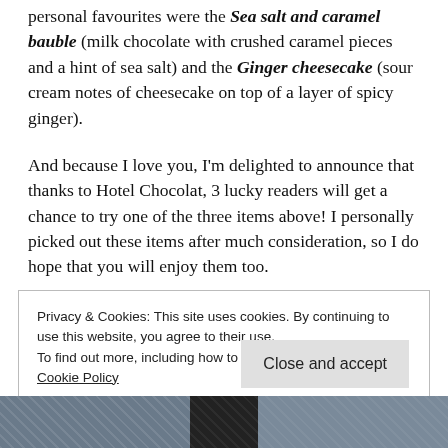personal favourites were the Sea salt and caramel bauble (milk chocolate with crushed caramel pieces and a hint of sea salt) and the Ginger cheesecake (sour cream notes of cheesecake on top of a layer of spicy ginger).
And because I love you, I'm delighted to announce that thanks to Hotel Chocolat, 3 lucky readers will get a chance to try one of the three items above! I personally picked out these items after much consideration, so I do hope that you will enjoy them too.
Privacy & Cookies: This site uses cookies. By continuing to use this website, you agree to their use.
To find out more, including how to control cookies, see here: Cookie Policy
[Figure (photo): Bottom strip showing partial photographs, partially obscured]